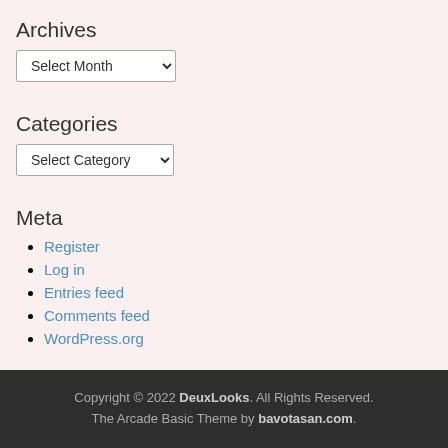Archives
Select Month (dropdown)
Categories
Select Category (dropdown)
Meta
Register
Log in
Entries feed
Comments feed
WordPress.org
Copyright © 2022 DeuxLooks. All Rights Reserved. The Arcade Basic Theme by bavotasan.com.